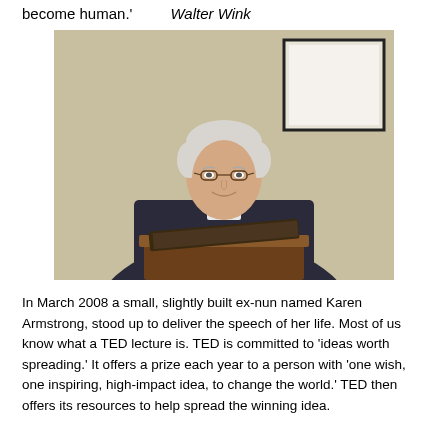become human.'        Walter Wink
[Figure (photo): An elderly man with white hair and glasses, wearing dark clerical robes, smiling at a podium with an open book/notes, light beige wall and framed artwork in background.]
In March 2008 a small, slightly built ex-nun named Karen Armstrong, stood up to deliver the speech of her life. Most of us know what a TED lecture is. TED is committed to 'ideas worth spreading.' It offers a prize each year to a person with 'one wish, one inspiring, high-impact idea, to change the world.' TED then offers its resources to help spread the winning idea.